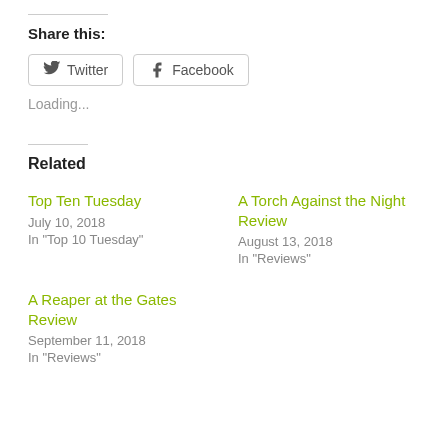Share this:
Twitter  Facebook
Loading...
Related
Top Ten Tuesday
July 10, 2018
In "Top 10 Tuesday"
A Torch Against the Night Review
August 13, 2018
In "Reviews"
A Reaper at the Gates Review
September 11, 2018
In "Reviews"